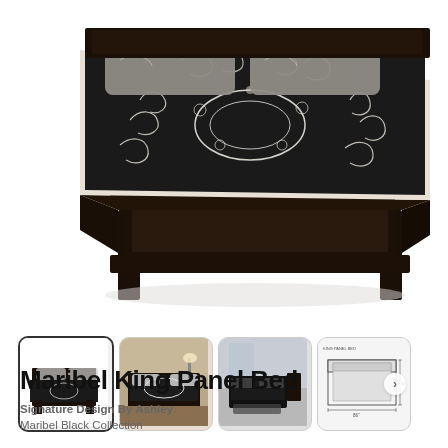[Figure (photo): Main product image of a Maribel King Panel Bed in black wood with ornate black-and-white patterned bedding, showing footboard and partial side rails from an elevated angle, against a white background.]
[Figure (photo): Thumbnail 1 (selected): Maribel King Panel Bed, front view, black finish, black and white patterned bedding.]
[Figure (photo): Thumbnail 2: Maribel King Panel Bed in room setting with warm lighting, wood floors.]
[Figure (photo): Thumbnail 3: Maribel King Panel Bed in room setting with dresser and nightstand.]
[Figure (schematic): Thumbnail 4: Dimensional schematic/diagram of the Maribel King Panel Bed with measurements.]
Maribel King Panel Bed
Signature Design By Ashley
Maribel Black Collection